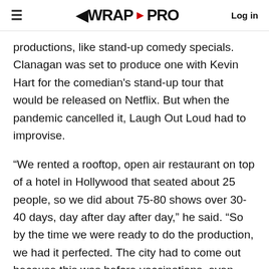≡  WRAP▶PRO  Log in
productions, like stand-up comedy specials. Clanagan was set to produce one with Kevin Hart for the comedian's stand-up tour that would be released on Netflix. But when the pandemic cancelled it, Laugh Out Loud had to improvise.
“We rented a rooftop, open air restaurant on top of a hotel in Hollywood that seated about 25 people, so we did about 75-80 shows over 30-40 days, day after day after day,” he said. “So by the time we were ready to do the production, we had it perfected. The city had to come out because this was before vaccinations, even though we only had 20-25 people